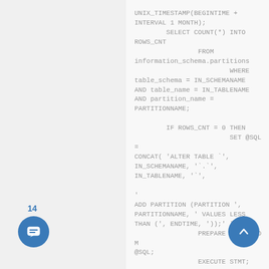UNIX_TIMESTAMP(BEGINTIME + INTERVAL 1 MONTH);
        SELECT COUNT(*) INTO ROWS_CNT
                FROM information_schema.partitions
                        WHERE table_schema = IN_SCHEMANAME
        AND table_name = IN_TABLENAME
        AND partition_name = PARTITIONNAME;

        IF ROWS_CNT = 0 THEN
                        SET @SQL = CONCAT( 'ALTER TABLE `',
        IN_SCHEMANAME, '`.`', IN_TABLENAME, '`',
                                        '
        ADD PARTITION (PARTITION ', PARTITIONNAME, ' VALUES LESS THAN (', ENDTIME, '));' );
                PREPARE STMT FROM @SQL;
                EXECUTE STMT;
                DEALLOCATE PREPARE STMT;
14